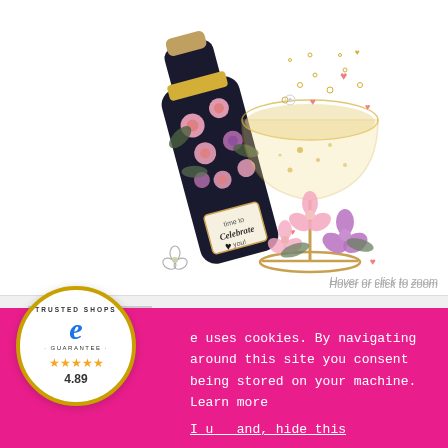[Figure (illustration): Greeting card illustration showing a floral champagne bottle with 'Time to Celebrate You' label alongside a champagne coupe glass with bubbles and pink and purple flowers scattered around, on white background]
Hover or click to zoom
[Figure (photo): Thumbnail of greeting card with 'To my beautiful Wife on your Birthday' text]
e uses cookies. By navigating around this site you consent being stored on your machine. Learn more
I u   and, hide this